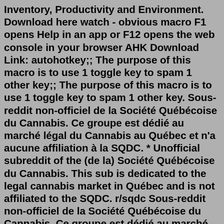Inventory, Productivity and Environment. Download here watch - obvious macro F1 opens Help in an app or F12 opens the web console in your browser AHK Download Link: autohotkey;; The purpose of this macro is to use 1 toggle key to spam 1 other key;; The purpose of this macro is to use 1 toggle key to spam 1 other key. Sous-reddit non-officiel de la Société Québécoise du Cannabis. Ce groupe est dédié au marché légal du Cannabis au Québec et n'a aucune affiliation à la SQDC. * Unofficial subreddit of the (de la) Société Québécoise du Cannabis. This sub is dedicated to the legal cannabis market in Québec and is not affiliated to the SQDC. r/sqdc Sous-reddit non-officiel de la Société Québécoise du Cannabis. Ce groupe est dédié au marché légal du Cannabis au Québec et n'a aucune affiliation à la SQDC. * Unofficial subreddit of the (de la) Société Québécoise du Cannabis. This sub is dedicated to the legal cannabis market in Québec and is not affiliated to the SQDC. 39.2k Members 44Sous-reddit non-officiel de la Société Québécoise du Cannabis. Ce groupe est